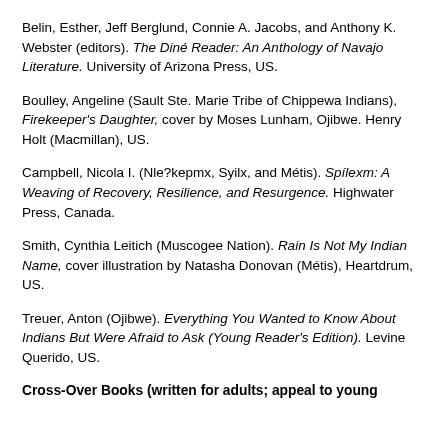Belin, Esther, Jeff Berglund, Connie A. Jacobs, and Anthony K. Webster (editors). The Diné Reader: An Anthology of Navajo Literature. University of Arizona Press, US.
Boulley, Angeline (Sault Ste. Marie Tribe of Chippewa Indians), Firekeeper's Daughter, cover by Moses Lunham, Ojibwe. Henry Holt (Macmillan), US.
Campbell, Nicola I. (Nle?kepmx, Syilx, and Métis). Spílexm: A Weaving of Recovery, Resilience, and Resurgence. Highwater Press, Canada.
Smith, Cynthia Leitich (Muscogee Nation). Rain Is Not My Indian Name, cover illustration by Natasha Donovan (Métis), Heartdrum, US.
Treuer, Anton (Ojibwe). Everything You Wanted to Know About Indians But Were Afraid to Ask (Young Reader's Edition). Levine Querido, US.
Cross-Over Books (written for adults; appeal to young